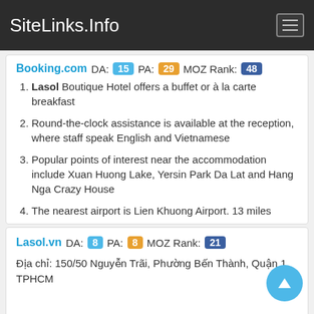SiteLinks.Info
Booking.com  DA: 15  PA: 29  MOZ Rank: 48
Lasol Boutique Hotel offers a buffet or à la carte breakfast
Round-the-clock assistance is available at the reception, where staff speak English and Vietnamese
Popular points of interest near the accommodation include Xuan Huong Lake, Yersin Park Da Lat and Hang Nga Crazy House
The nearest airport is Lien Khuong Airport. 13 miles
Lasol.vn  DA: 8  PA: 8  MOZ Rank: 21
Địa chỉ: 150/50 Nguyễn Trãi, Phường Bến Thành, Quận 1, TPHCM